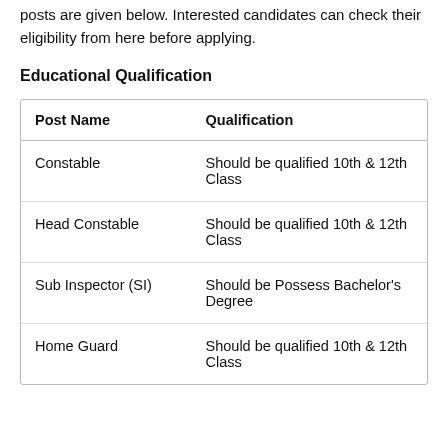posts are given below. Interested candidates can check their eligibility from here before applying.
Educational Qualification
| Post Name | Qualification |
| --- | --- |
| Constable | Should be qualified 10th & 12th Class |
| Head Constable | Should be qualified 10th & 12th Class |
| Sub Inspector (SI) | Should be Possess Bachelor's Degree |
| Home Guard | Should be qualified 10th & 12th Class |